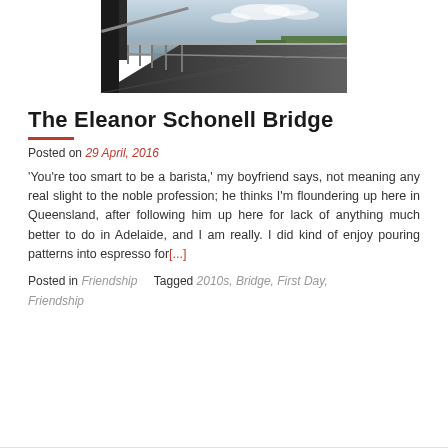[Figure (photo): Photograph taken from a bridge walkway looking along the railing toward a river and trees under a cloudy sky. The bridge structure with metal railings is visible in the foreground.]
The Eleanor Schonell Bridge
Posted on 29 April, 2016
'You're too smart to be a barista,' my boyfriend says, not meaning any real slight to the noble profession; he thinks I'm floundering up here in Queensland, after following him up here for lack of anything much better to do in Adelaide, and I am really. I did kind of enjoy pouring patterns into espresso for[...]
Posted in Friendship     Tagged 2010s, Bridge, First Day, Friendship